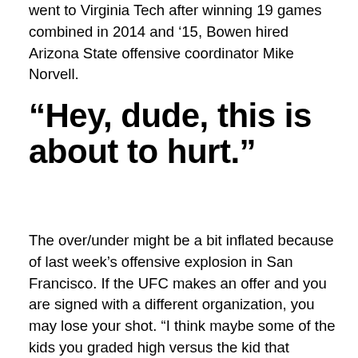went to Virginia Tech after winning 19 games combined in 2014 and '15, Bowen hired Arizona State offensive coordinator Mike Norvell.
“Hey, dude, this is about to hurt.”
The over/under might be a bit inflated because of last week’s offensive explosion in San Francisco. If the UFC makes an offer and you are signed with a different organization, you may lose your shot. “I think maybe some of the kids you graded high versus the kid that maybe graded a little bit low, they had some good reps, they had some bad reps,” he said.